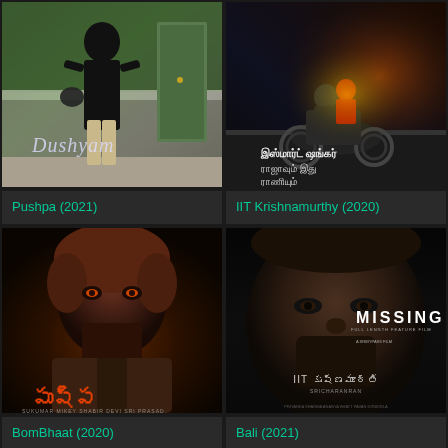[Figure (photo): Movie poster for Drishyam/Pushpa (2021) - man in black shirt walking in corridor]
[Figure (photo): Movie poster for IIT Krishnamurthy (2020) - motorcycle action scene with Tamil text]
Pushpa (2021)
IIT Krishnamurthy (2020)
[Figure (photo): Movie poster for BomBhaat (2020) - Pushpa film with man in dramatic pose, Telugu title]
[Figure (photo): Movie poster for Bali (2021) - IIT Krishnamurthy missing themed poster, dark dramatic face close-up]
BomBhaat (2020)
Bali (2021)